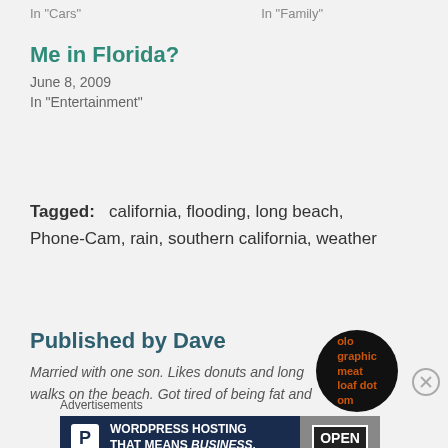In "Cars"
In "Family"
Me in Florida?
June 8, 2009
In "Entertainment"
Tagged: california, flooding, long beach, Phone-Cam, rain, southern california, weather
Published by Dave
Married with one son. Likes donuts and long walks on the beach. Got tired of being fat and
[Figure (illustration): Circular avatar with dark background and orange text reading 'olo graphic meat loaf dot om']
Advertisements
[Figure (screenshot): WordPress hosting advertisement banner reading 'WORDPRESS HOSTING THAT MEANS BUSINESS.' with a letter P logo and an OPEN sign photo]